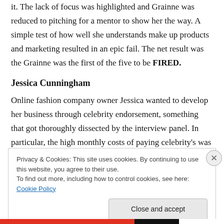it. The lack of focus was highlighted and Grainne was reduced to pitching for a mentor to show her the way. A simple test of how well she understands make up products and marketing resulted in an epic fail. The net result was the Grainne was the first of the five to be FIRED.
Jessica Cunningham
Online fashion company owner Jessica wanted to develop her business through celebrity endorsement, something that got thoroughly dissected by the interview panel. In particular, the high monthly costs of paying celebrity's was
Privacy & Cookies: This site uses cookies. By continuing to use this website, you agree to their use.
To find out more, including how to control cookies, see here: Cookie Policy
Close and accept